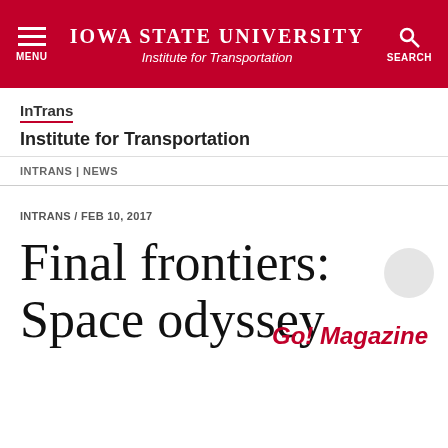Iowa State University — Institute for Transportation
InTrans
Institute for Transportation
INTRANS | NEWS
INTRANS / FEB 10, 2017
Final frontiers: Space odyssey
Go! Magazine